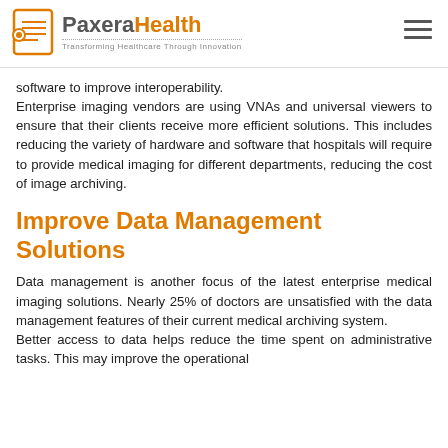PaxeraHealth — Transforming Healthcare Through Innovation
software to improve interoperability.
Enterprise imaging vendors are using VNAs and universal viewers to ensure that their clients receive more efficient solutions. This includes reducing the variety of hardware and software that hospitals will require to provide medical imaging for different departments, reducing the cost of image archiving.
Improve Data Management Solutions
Data management is another focus of the latest enterprise medical imaging solutions. Nearly 25% of doctors are unsatisfied with the data management features of their current medical archiving system.
Better access to data helps reduce the time spent on administrative tasks. This may improve the operational...